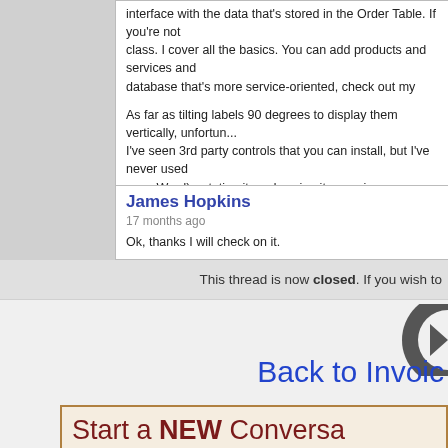interface with the data that's stored in the Order Table. If you're not familiar with the class. I cover all the basics. You can add products and services and... database that's more service-oriented, check out my Work Order S
As far as tilting labels 90 degrees to display them vertically, unfortunately I've seen 3rd party controls that you can install, but I've never used even Word), rotating it, and saving it as an image.
James Hopkins
17 months ago
Ok, thanks I will check on it.
This thread is now closed. If you wish to
[Figure (logo): Partial circular logo/icon on the right side, dark gray color]
Back to Invoic
Start a NEW Conversa